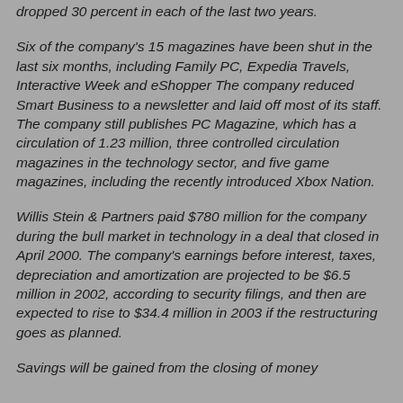dropped 30 percent in each of the last two years.
Six of the company's 15 magazines have been shut in the last six months, including Family PC, Expedia Travels, Interactive Week and eShopper The company reduced Smart Business to a newsletter and laid off most of its staff. The company still publishes PC Magazine, which has a circulation of 1.23 million, three controlled circulation magazines in the technology sector, and five game magazines, including the recently introduced Xbox Nation.
Willis Stein & Partners paid $780 million for the company during the bull market in technology in a deal that closed in April 2000. The company's earnings before interest, taxes, depreciation and amortization are projected to be $6.5 million in 2002, according to security filings, and then are expected to rise to $34.4 million in 2003 if the restructuring goes as planned.
Savings will be gained from the closing of money...